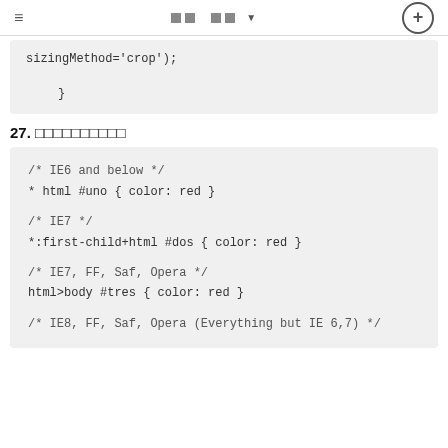≡  □□  □□▼  ⊕
sizingMethod='crop');
}
27. □□□□□□□□□□
/* IE6 and below */
* html #uno { color: red }

/* IE7 */
*:first-child+html #dos { color: red }

/* IE7, FF, Saf, Opera */
html>body #tres { color: red }

/* IE8, FF, Saf, Opera (Everything but IE 6,7) */